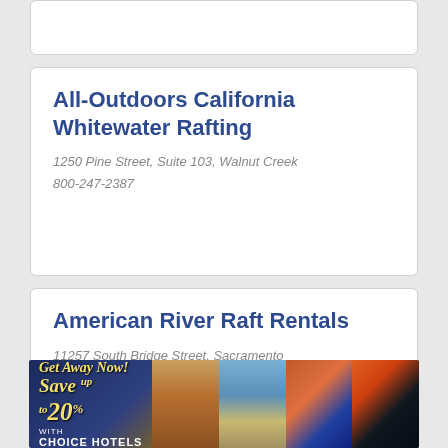(partial card — top of page, content clipped)
All-Outdoors California Whitewater Rafting
1250 Pine Street, Suite 103, Walnut Creek
800-247-2387
American River Raft Rentals
11257 South Bridge Street, Sacramento
916-635-6400
[Figure (infographic): Advertisement banner: 'Get Away Now! Save up to 20% with Choice Hotels' with travel photos]